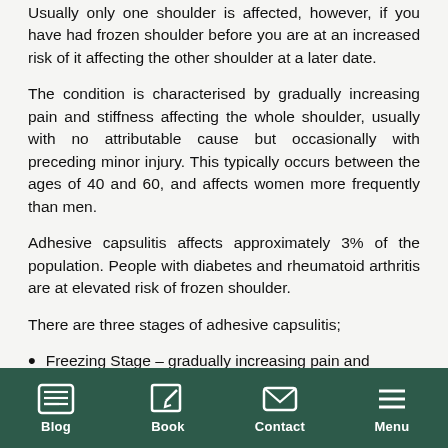Usually only one shoulder is affected, however, if you have had frozen shoulder before you are at an increased risk of it affecting the other shoulder at a later date.
The condition is characterised by gradually increasing pain and stiffness affecting the whole shoulder, usually with no attributable cause but occasionally with preceding minor injury. This typically occurs between the ages of 40 and 60, and affects women more frequently than men.
Adhesive capsulitis affects approximately 3% of the population. People with diabetes and rheumatoid arthritis are at elevated risk of frozen shoulder.
There are three stages of adhesive capsulitis;
Freezing Stage – gradually increasing pain and decreasing mobility, lasting approximately 8 months
Frozen stage – limited shoulder mobility, although...
Blog | Book | Contact | Menu